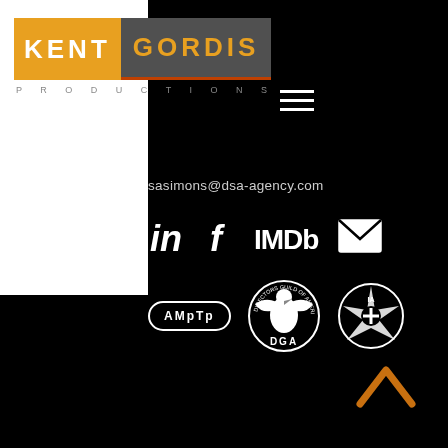[Figure (logo): Kent Gordis Productions logo: KENT in orange box, GORDIS in gray box with orange text and red underline, PRODUCTIONS in spaced gray letters below]
[Figure (infographic): Hamburger menu icon (three white horizontal lines)]
sasimons@dsa-agency.com
[Figure (infographic): Social media icons row: LinkedIn (in), Facebook (f), IMDb, envelope/email icon]
[Figure (infographic): Industry logos row: AMPTP oval logo, Directors Guild of America (DGA) eagle logo, IATSE union logo]
[Figure (infographic): Orange caret/chevron up arrow at bottom right]